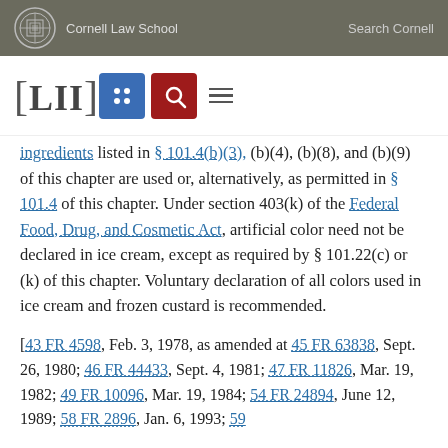Cornell Law School | Search Cornell
ingredients listed in § 101.4(b)(3), (b)(4), (b)(8), and (b)(9) of this chapter are used or, alternatively, as permitted in § 101.4 of this chapter. Under section 403(k) of the Federal Food, Drug, and Cosmetic Act, artificial color need not be declared in ice cream, except as required by § 101.22(c) or (k) of this chapter. Voluntary declaration of all colors used in ice cream and frozen custard is recommended.
[43 FR 4598, Feb. 3, 1978, as amended at 45 FR 63838, Sept. 26, 1980; 46 FR 44433, Sept. 4, 1981; 47 FR 11826, Mar. 19, 1982; 49 FR 10096, Mar. 19, 1984; 54 FR 24894, June 12, 1989; 58 FR 2896, Jan. 6, 1993; 59